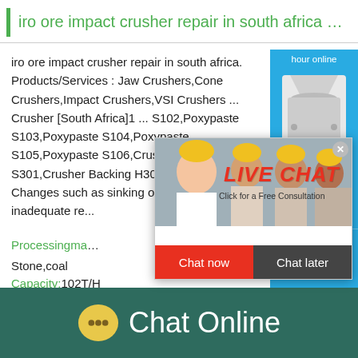iro ore impact crusher repair in south africa sto…
iro ore impact crusher repair in south africa. Products/Services : Jaw Crushers,Cone Crushers,Impact Crushers,VSI Crushers ... Crusher [South Africa]1 ... S102,Poxypaste S103,Poxypaste S104,Poxypaste S105,Poxypaste S106,Crusher Backing S301,Crusher Backing H303,Poxycart C301 ... Changes such as sinking of f... hour online inadequate re...
Processingma... Stone,coal
Capacity:102T/H
Finished product fineness:0-10mm□10-20mm
[Figure (screenshot): Live chat popup overlay with workers photo, LIVE CHAT text in red italic, 'Click for a Free Consultation' subtext, Chat now (red) and Chat later (dark) buttons, and a close X button]
[Figure (screenshot): Right side widget showing 'hour online' text, cone crusher machine image on blue background, and 'Click me to chat>>' button]
Chat Online